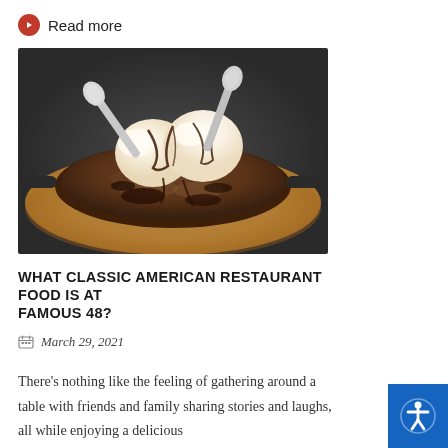Read more
[Figure (photo): A cast iron skillet dessert — a warm brownie cookie topped with two large scoops of vanilla ice cream and chocolate sauce drizzle, with two spoons, served on a wooden board]
WHAT CLASSIC AMERICAN RESTAURANT FOOD IS AT FAMOUS 48?
March 29, 2021
There’s nothing like the feeling of gathering around a table with friends and family sharing stories and laughs, all while enjoying a delicious